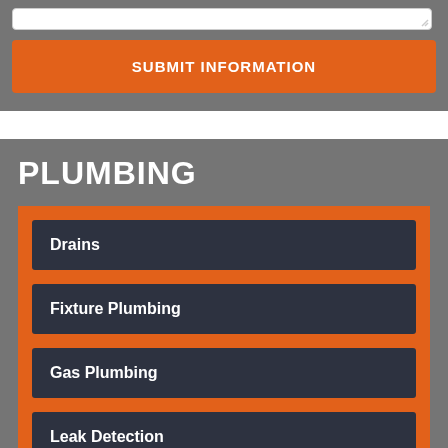[Figure (screenshot): Top section with a white textarea input box with resize handle on grey background]
SUBMIT INFORMATION
PLUMBING
Drains
Fixture Plumbing
Gas Plumbing
Leak Detection